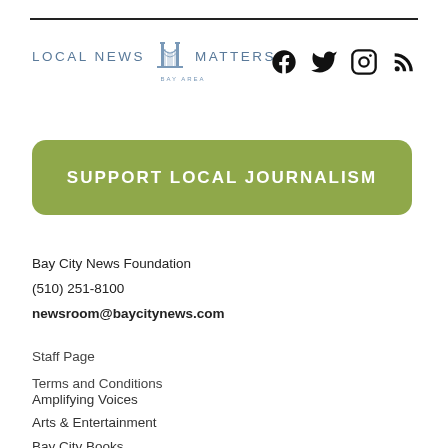[Figure (logo): Local News Matters Bay Area logo with Golden Gate Bridge illustration]
[Figure (other): Social media icons: Facebook, Twitter, Instagram, RSS]
Support Local Journalism
Bay City News Foundation
(510) 251-8100
newsroom@baycitynews.com
Staff Page
Terms and Conditions
Amplifying Voices
Arts & Entertainment
Bay City Books